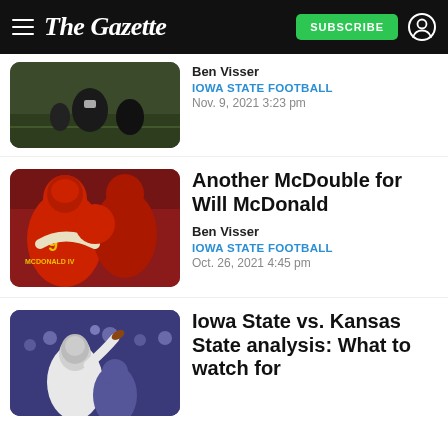The Gazette — SUBSCRIBE
[Figure (photo): Football players on field, partial view at top of page]
Ben Visser
IOWA STATE FOOTBALL
Nov. 9, 2021 3:23 pm
[Figure (photo): Iowa State football players celebrating, MCDONALD IV #9 visible]
Another McDouble for Will McDonald
Ben Visser
IOWA STATE FOOTBALL
Oct. 26, 2021 4:45 pm
[Figure (photo): Football player throwing ball with crowd in background]
Iowa State vs. Kansas State analysis: What to watch for